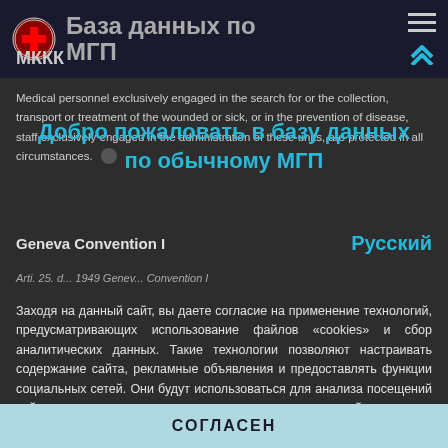База данных по МГП — МККК
Medical personnel exclusively engaged in the search for or the collection, transport or treatment of the wounded or sick, or in the prevention of disease, staff exclusively engaged in the administration of these units, are protected in all circumstances.
Добро пожаловать в базу данных по обычному МГП
Geneva Convention I
Русский
Заходя на данный сайт, вы даете согласие на применение технологий, предусматривающих использование файлов «cookies» и сбор аналитических данных. Такие технологии позволяют настраивать содержание сайта, рекламные объявления и предоставлять функции социальных сетей. Они будут использоваться для анализа посещений сайта, что позволит нам понять предпочтения посетителей и улучшить предоставляемые услуги. Узнать больше
СОГЛАСЕН